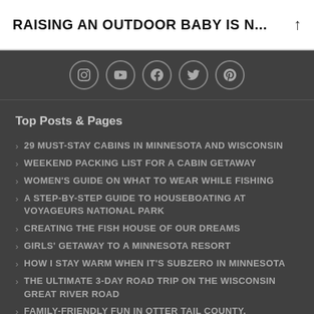RAISING AN OUTDOOR BABY IS N...
[Figure (other): Social media icons row: Instagram, YouTube, Facebook, Twitter, Pinterest]
Top Posts & Pages
29 MUST-STAY CABINS IN MINNESOTA AND WISCONSIN
WEEKEND PACKING LIST FOR A CABIN GETAWAY
WOMEN'S GUIDE ON WHAT TO WEAR WHILE FISHING
A STEP-BY-STEP GUIDE TO HOUSEBOATING AT VOYAGEURS NATIONAL PARK
CREATING THE FISH HOUSE OF OUR DREAMS
GIRLS' GETAWAY TO A MINNESOTA RESORT
HOW I STAY WARM WHEN IT'S SUBZERO IN MINNESOTA
THE ULTIMATE 3-DAY ROAD TRIP ON THE WISCONSIN GREAT RIVER ROAD
FAMILY-FRIENDLY FUN IN OTTER TAIL COUNTY, MINNESOTA